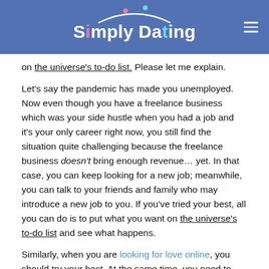Simply Dating
on the universe’s to-do list. Please let me explain.
Let’s say the pandemic has made you unemployed. Now even though you have a freelance business which was your side hustle when you had a job and it’s your only career right now, you still find the situation quite challenging because the freelance business doesn’t bring enough revenue… yet. In that case, you can keep looking for a new job; meanwhile, you can talk to your friends and family who may introduce a new job to you. If you’ve tried your best, all you can do is to put what you want on the universe’s to-do list and see what happens.
Similarly, when you are looking for love online, you should try your best. At the same time, you need to believe that the